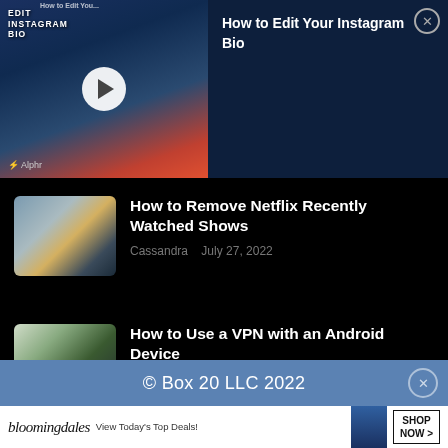[Figure (screenshot): Video thumbnail showing Instagram bio editing tutorial with play button, dark blue background with phone and text 'EDIT INSTAGRAM BIO']
How to Edit Your Instagram Bio
[Figure (photo): Thumbnail image for Netflix recently watched shows article - person in suit outdoors]
How to Remove Netflix Recently Watched Shows
Cassandra   July 27, 2022
[Figure (photo): Thumbnail image for VPN Android article - person holding green phone]
How to Use a VPN with an Android Device
Lee Stanton   August 3, 2022
© Box 20 LLC 2022
[Figure (screenshot): Bloomingdale's advertisement banner - View Today's Top Deals! SHOP NOW >]